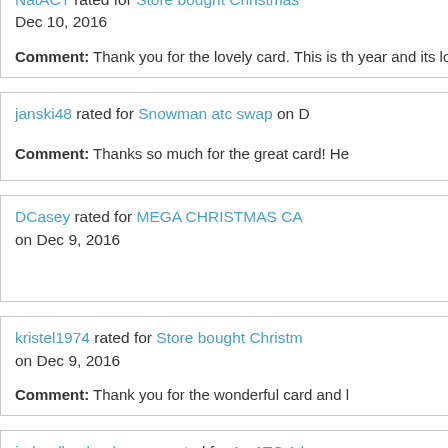NatACT rated for Store bought Christmas ... Dec 10, 2016
Comment: Thank you for the lovely card. This is th... year and its lovely.
janski48 rated for Snowman atc swap on D...
Comment: Thanks so much for the great card! He...
DCasey rated for MEGA CHRISTMAS CA... on Dec 9, 2016
kristel1974 rated for Store bought Christm... on Dec 9, 2016
Comment: Thank you for the wonderful card and l...
judgedbyabookscover rated for An ATC A l...